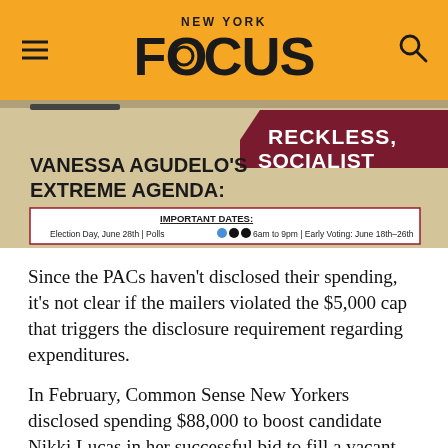NEW YORK FOCUS
[Figure (photo): Photo of a political mailer targeting Vanessa Agudelo, showing text 'VANESSA AGUDELO'S EXTREME AGENDA:' and 'RECKLESS, SOCIALIST' with important dates listed: Election Day June 28th, Polls open 6am to 9pm, Early Voting June 18th-26th]
Since the PACs haven't disclosed their spending, it's not clear if the mailers violated the $5,000 cap that triggers the disclosure requirement regarding expenditures.
In February, Common Sense New Yorkers disclosed spending $88,000 to boost candidate Nikki Lucas in her successful bid to fill a vacant southeast Brooklyn